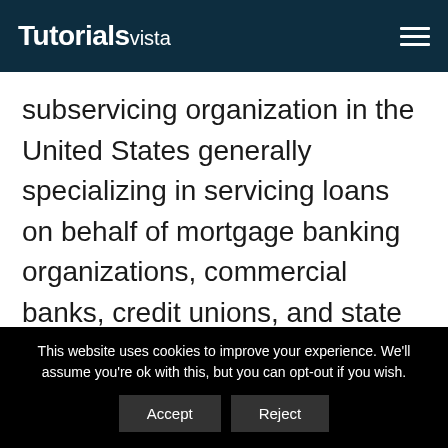Tutorialsvista
subservicing organization in the United States generally specializing in servicing loans on behalf of mortgage banking organizations, commercial banks, credit unions, and state & local housing finance agencies countrywide.
To get Registered for the Dovenmuehle
This website uses cookies to improve your experience. We'll assume you're ok with this, but you can opt-out if you wish.